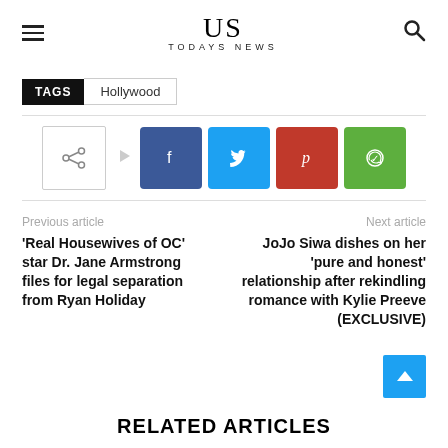US TODAYS NEWS
TAGS   Hollywood
[Figure (infographic): Share buttons row: share icon, arrow, Facebook (blue), Twitter (cyan), Pinterest (red), WhatsApp (green)]
Previous article
'Real Housewives of OC' star Dr. Jane Armstrong files for legal separation from Ryan Holiday
Next article
JoJo Siwa dishes on her 'pure and honest' relationship after rekindling romance with Kylie Preeve (EXCLUSIVE)
RELATED ARTICLES